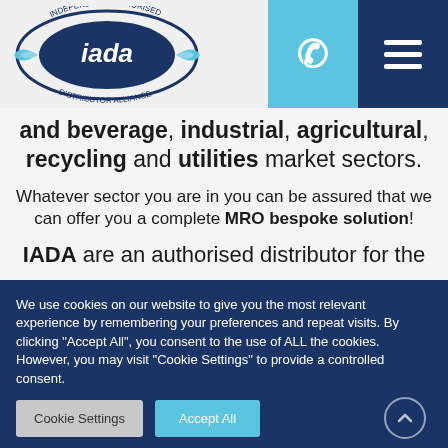[Figure (logo): IADA Independent Authorised Distributor Alliance logo — circular badge with wings and 'iada' text in center]
and beverage, industrial, agricultural, recycling and utilities market sectors.
Whatever sector you are in you can be assured that we can offer you a complete MRO bespoke solution!
IADA are an authorised distributor for the
We use cookies on our website to give you the most relevant experience by remembering your preferences and repeat visits. By clicking "Accept All", you consent to the use of ALL the cookies. However, you may visit "Cookie Settings" to provide a controlled consent.